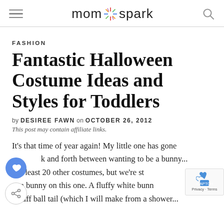mom spark
FASHION
Fantastic Halloween Costume Ideas and Styles for Toddlers
by DESIREE FAWN on OCTOBER 26, 2012
This post may contain affiliate links.
It’s that time of year again! My little one has gone back and forth between wanting to be a bunny... and at least 20 other costumes, but we’re still on a bunny on this one. A fluffy white bunn... a puff ball tail (which I will make from a shower...